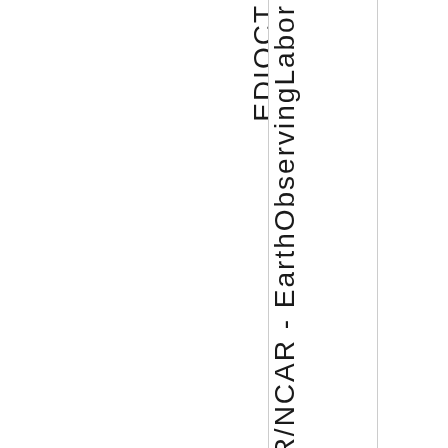[Figure (other): Vertical text reading 'AR/NCAR - EarthObservingLabor' rotated 90 degrees, with partial letters visible on left edge. Appears to be a document spine or sidebar label.]